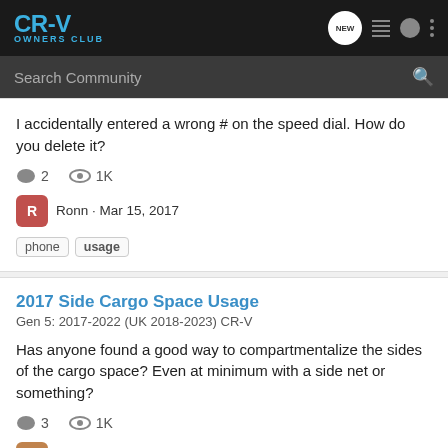CR-V OWNERS CLUB
I accidentally entered a wrong # on the speed dial. How do you delete it?
2    1K   Ronn · Mar 15, 2017   phone  usage
2017 Side Cargo Space Usage
Gen 5: 2017-2022 (UK 2018-2023) CR-V
Has anyone found a good way to compartmentalize the sides of the cargo space? Even at minimum with a side net or something?
3    1K